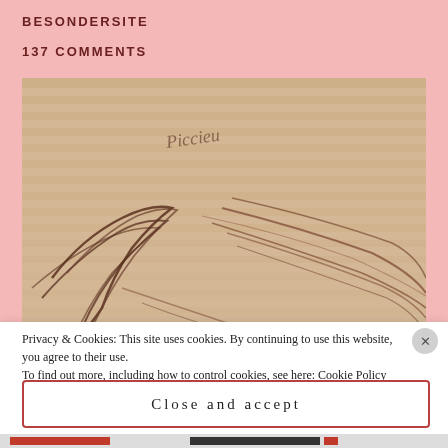BESONDERSITE
137 COMMENTS
[Figure (photo): A close-up sepia photograph of what appears to be a pencil drawing or sketch on lined paper, showing flowing curved lines resembling hair or feathers with a handwritten signature near the top.]
Privacy & Cookies: This site uses cookies. By continuing to use this website, you agree to their use.
To find out more, including how to control cookies, see here: Cookie Policy
Close and accept